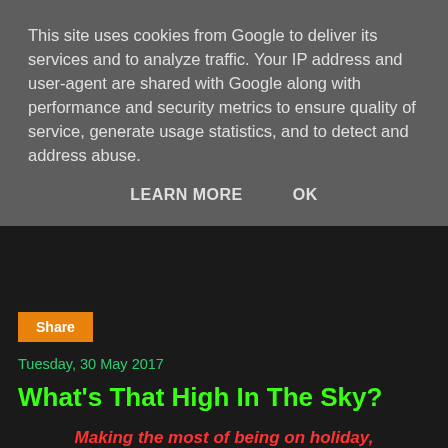This site uses cookies from Google to deliver its services and to analyze traffic. Your IP address and user-agent are shared with Google along with performance and security metrics to ensure quality of service, generate usage statistics, and to detect and address abuse.
LEARN MORE   OK
Share
Tuesday, 30 May 2017
What's That High In The Sky?
Making the most of being on holiday, Just what was needed...
[Figure (photo): A food photo showing what appears to be a toasted cookie/scone and a hot drink with whipped cream, served on white plates on a wooden table.]